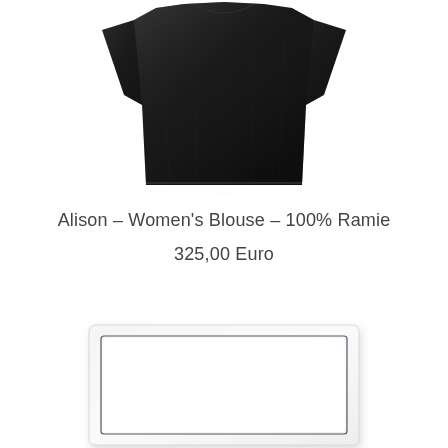[Figure (photo): Black women's blouse / top with short sleeves, lightweight fabric, viewed from front against white background]
Alison – Women's Blouse – 100% Ramie
325,00 Euro
[Figure (photo): White rectangular tray or serving plate with a dark border/rim line near the edge, viewed from slightly above against white background]